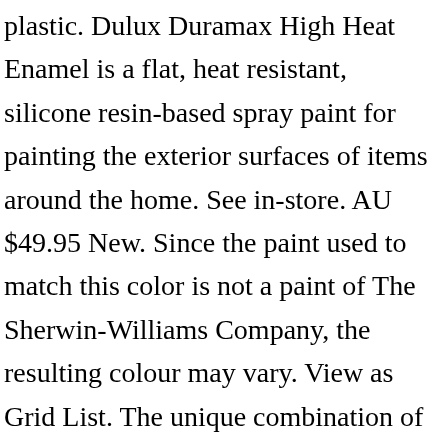plastic. Dulux Duramax High Heat Enamel is a flat, heat resistant, silicone resin-based spray paint for painting the exterior surfaces of items around the home. See in-store. AU $49.95 New. Since the paint used to match this color is not a paint of The Sherwin-Williams Company, the resulting colour may vary. View as Grid List. The unique combination of technology delivers a bold, bright coloured finish and is ideal for use on all primed smooth surfaces such as metal, wood, glass and plastic. We suggest applying Dulux Duramax when the temperature is between 10 and 35oC